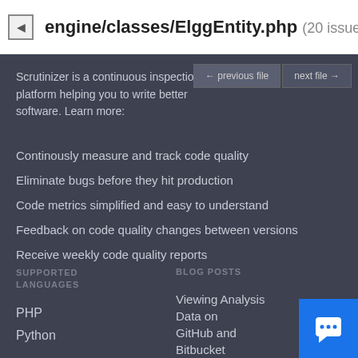engine/classes/ElggEntity.php (20 issues)
Scrutinizer is a continuous inspection platform helping you to write better software. Learn more:
Continously measure and track code quality
Eliminate bugs before they hit production
Code metrics simplified and easy to understand
Feedback on code quality changes between versions
Receive weekly code quality reports
SUPPORTED LANGUAGES
BLOG POSTS
PHP
Python
Viewing Analysis Data on GitHub and Bitbucket